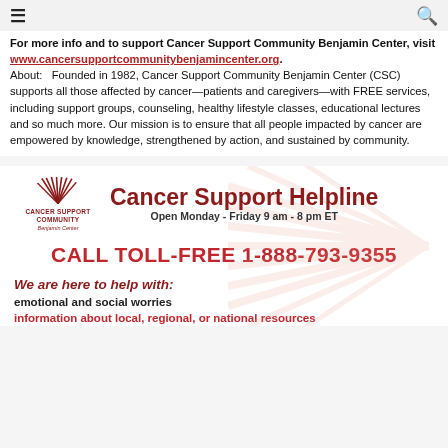≡  🔍
For more info and to support Cancer Support Community Benjamin Center, visit www.cancersupportcommunitybenjamincenter.org. About:   Founded in 1982, Cancer Support Community Benjamin Center (CSC) supports all those affected by cancer—patients and caregivers—with FREE services, including support groups, counseling, healthy lifestyle classes, educational lectures and so much more. Our mission is to ensure that all people impacted by cancer are empowered by knowledge, strengthened by action, and sustained by community.
[Figure (infographic): Cancer Support Community Benjamin Center logo with sunburst, Cancer Support Helpline banner reading 'Open Monday - Friday 9 am - 8 pm ET', toll-free number CALL TOLL-FREE 1-888-793-9355, and text 'We are here to help with: emotional and social worries, information about local, regional, or national resources']